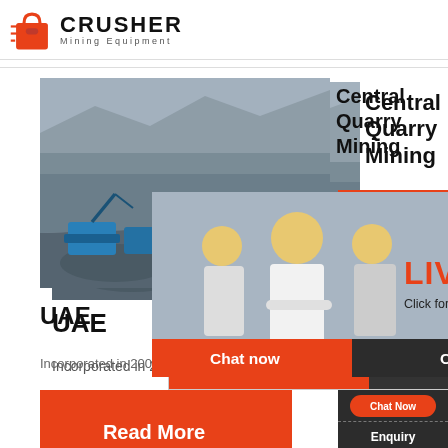[Figure (logo): Crusher Mining Equipment logo with red shopping bag icon and bold text]
[Figure (photo): Quarry mining site with heavy equipment and rock face]
Central Quarry Mining
UAE
[Figure (photo): Live Chat popup with mining workers in yellow hard hats, LIVE CHAT text in red, Click for a Free Consultation, Chat now and Chat later buttons]
[Figure (photo): Customer service representative with headset on dark sidebar]
Incorporated in 2006, Central Quarry Mining ha
[Figure (infographic): Read More orange button]
24Hrs Online
Need questions & suggestion?
Chat Now
Enquiry
limingjlmofen@sina.com